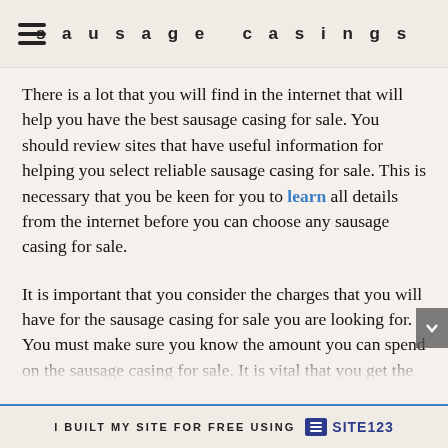sausage casings
There is a lot that you will find in the internet that will help you have the best sausage casing for sale. You should review sites that have useful information for helping you select reliable sausage casing for sale. This is necessary that you be keen for you to learn all details from the internet before you can choose any sausage casing for sale.
It is important that you consider the charges that you will have for the sausage casing for sale you are looking for. You must make sure you know the amount you can spend on the sausage casing for sale. It is vital that you get the range for the cost of the sausage casing for sale that you want to work with. This will help you to know the affordable sausage casing for sale. You should take time to budget well to ensure you can have all what is required of you. This will be important when you need to leave
I BUILT MY SITE FOR FREE USING SITE123